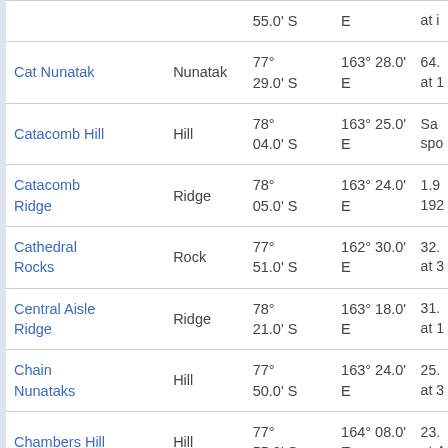| Name | Type | Latitude | Longitude | Details |
| --- | --- | --- | --- | --- |
| Cat Nunatak | Nunatak | 77° 29.0' S | 163° 28.0' E | 64. at 1 |
| Catacomb Hill | Hill | 78° 04.0' S | 163° 25.0' E | San spo |
| Catacomb Ridge | Ridge | 78° 05.0' S | 163° 24.0' E | 1.9 192 |
| Cathedral Rocks | Rock | 77° 51.0' S | 162° 30.0' E | 32. at 3 |
| Central Aisle Ridge | Ridge | 78° 21.0' S | 163° 18.0' E | 31. at 1 |
| Chain Nunataks | Hill | 77° 50.0' S | 163° 24.0' E | 25. at 3 |
| Chambers Hill | Hill | 77° 55.0' S | 164° 08.0' E | 23. at 4 |
| Chancellor | Water body | 78° | 163° 18.0' E | 16. |